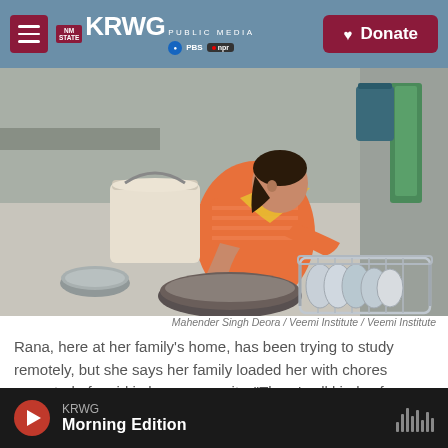KRWG PUBLIC MEDIA | PBS | NPR | Donate
[Figure (photo): A woman in an orange striped top and yellow scarf sits on the floor outdoors washing dishes. A large white plastic bucket is behind her to the left. In front of her are a dark wide bowl and a metal wire dish rack with plates. Green and teal buckets hang on the wall behind her.]
Mahender Singh Deora / Veemi Institute / Veemi Institute
Rana, here at her family's home, has been trying to study remotely, but she says her family loaded her with chores expected of a girl in her community. "There's all kinds of housework I have to do," she says.
KRWG Morning Edition